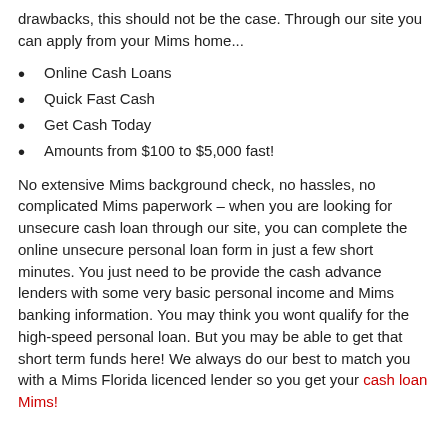drawbacks, this should not be the case. Through our site you can apply from your Mims home...
Online Cash Loans
Quick Fast Cash
Get Cash Today
Amounts from $100 to $5,000 fast!
No extensive Mims background check, no hassles, no complicated Mims paperwork – when you are looking for unsecure cash loan through our site, you can complete the online unsecure personal loan form in just a few short minutes. You just need to be provide the cash advance lenders with some very basic personal income and Mims banking information. You may think you wont qualify for the high-speed personal loan. But you may be able to get that short term funds here! We always do our best to match you with a Mims Florida licenced lender so you get your cash loan Mims!